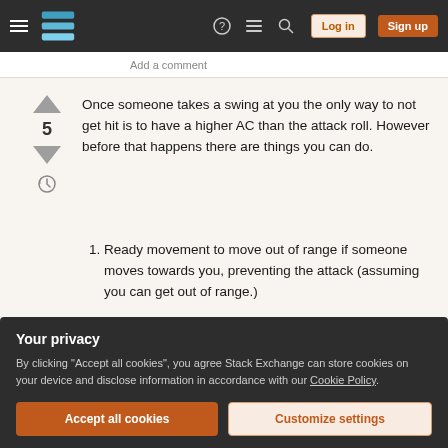Stack Exchange navigation bar with hamburger menu, logo, help, chat, search icons, Log in and Sign up buttons
Add a comment
Once someone takes a swing at you the only way to not get hit is to have a higher AC than the attack roll. However before that happens there are things you can do.
Ready movement to move out of range if someone moves towards you, preventing the attack (assuming you can get out of range.)
Use the dodge action to impose disadvantage on any attacker, making it less likely that the attack will hit.
Your privacy
By clicking "Accept all cookies", you agree Stack Exchange can store cookies on your device and disclose information in accordance with our Cookie Policy.
Accept all cookies  Customize settings